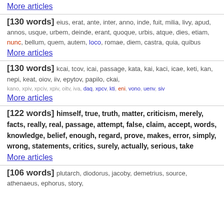More articles
[130 words] eius, erat, ante, inter, anno, inde, fuit, milia, livy, apud, annos, usque, urbem, deinde, erant, quoque, urbis, atque, dies, etiam, nunc, bellum, quem, autem, loco, romae, diem, castra, quia, quibus
More articles
[130 words] kcai, tcov, icai, passage, kata, kai, kaci, icae, keti, kan, nepi, keat, oiov, iiv, epytov, papilo, ckai, kano, xpiv, xpciv, xpiv, oitv, iva, daq, xpcv, kti, eni, vono, uenv, siv
More articles
[122 words] himself, true, truth, matter, criticism, merely, facts, really, real, passage, attempt, false, claim, accept, words, knowledge, belief, enough, regard, prove, makes, error, simply, wrong, statements, critics, surely, actually, serious, take
More articles
[106 words] plutarch, diodorus, jacoby, demetrius, source, athenaeus, ephorus, story,